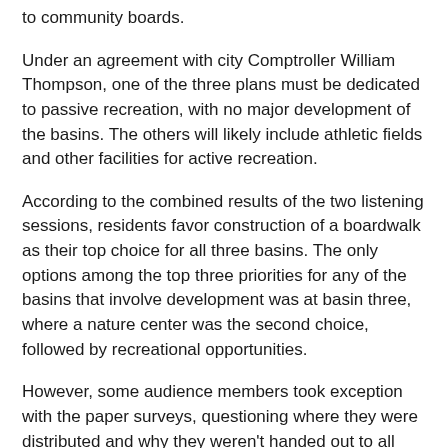to community boards.
Under an agreement with city Comptroller William Thompson, one of the three plans must be dedicated to passive recreation, with no major development of the basins. The others will likely include athletic fields and other facilities for active recreation.
According to the combined results of the two listening sessions, residents favor construction of a boardwalk as their top choice for all three basins. The only options among the top three priorities for any of the basins that involve development was at basin three, where a nature center was the second choice, followed by recreational opportunities.
However, some audience members took exception with the paper surveys, questioning where they were distributed and why they weren't handed out to all meeting participants or sent to local community boards. Also, some questioned why the results of a 2007 survey on Ridgewood Reservoir were not taken into consideration. Of the 253 paper survey respondents, 11% ranked baseball or softball fields as the